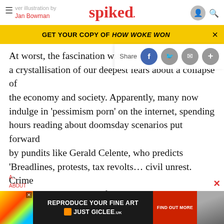spiked — cover illustration by Jan Bowman
GET YOUR COPY OF HOW WOKE WON
At worst, the fascination with th... a crystallisation of our deepest fears about a collapse of the economy and society. Apparently, many now indulge in 'pessimism porn' on the internet, spending hours reading about doomsday scenarios put forward by pundits like Gerald Celente, who predicts 'Breadlines, protests, tax revolts… civil unrest. Crime like we've never seen before.' Celente has bought a German shepherd to protect himself (2).
[Figure (screenshot): Advertisement for Just Giclee fine art reproduction service]